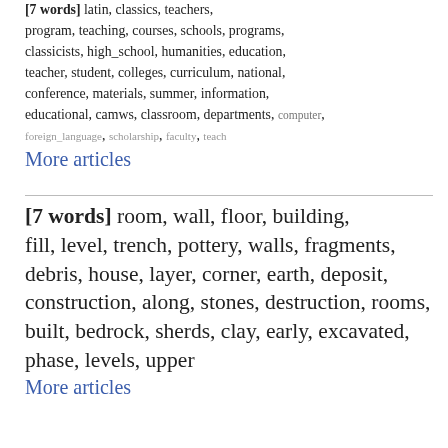[7 words] latin, classics, teachers, program, teaching, courses, schools, programs, classicists, high_school, humanities, education, teacher, student, colleges, curriculum, national, conference, materials, summer, information, educational, camws, classroom, departments, computer, foreign_language, scholarship, faculty, teach
More articles
[7 words] room, wall, floor, building, fill, level, trench, pottery, walls, fragments, debris, house, layer, corner, earth, deposit, construction, along, stones, destruction, rooms, built, bedrock, sherds, clay, early, excavated, phase, levels, upper
More articles
[6 words] statius, hercules, seneca, thyestes, silvae, thebaid, atreus, polynices, theb, octavia, eteocles, tydeus, adrastus, senecan, silv, tragedies, melior, silius, martial, play, jupiter, tantalus, zwierlen, etruscus, epic, duel, phaed, thebes, furens, plays
More articles
[6 words] pour, mais, nous, comme,